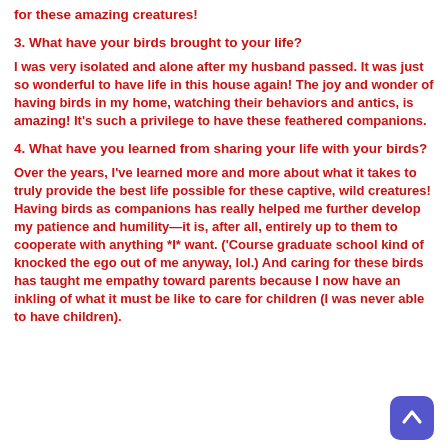for these amazing creatures!
3. What have your birds brought to your life?
I was very isolated and alone after my husband passed. It was just so wonderful to have life in this house again! The joy and wonder of having birds in my home, watching their behaviors and antics, is amazing! It’s such a privilege to have these feathered companions.
4. What have you learned from sharing your life with your birds?
Over the years, I’ve learned more and more about what it takes to truly provide the best life possible for these captive, wild creatures! Having birds as companions has really helped me further develop my patience and humility—it is, after all, entirely up to them to cooperate with anything *I* want. (‘Course graduate school kind of knocked the ego out of me anyway, lol.) And caring for these birds has taught me empathy toward parents because I now have an inkling of what it must be like to care for children (I was never able to have children).